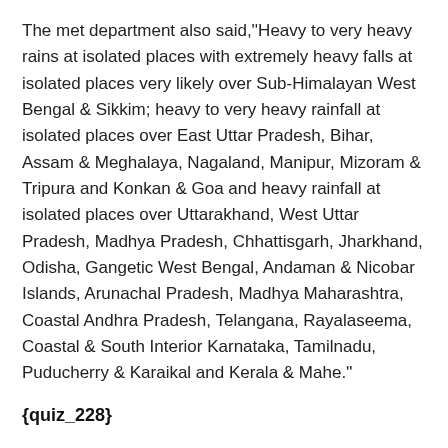The met department also said,''Heavy to very heavy rains at isolated places with extremely heavy falls at isolated places very likely over Sub-Himalayan West Bengal & Sikkim; heavy to very heavy rainfall at isolated places over East Uttar Pradesh, Bihar, Assam & Meghalaya, Nagaland, Manipur, Mizoram & Tripura and Konkan & Goa and heavy rainfall at isolated places over Uttarakhand, West Uttar Pradesh, Madhya Pradesh, Chhattisgarh, Jharkhand, Odisha, Gangetic West Bengal, Andaman & Nicobar Islands, Arunachal Pradesh, Madhya Maharashtra, Coastal Andhra Pradesh, Telangana, Rayalaseema, Coastal & South Interior Karnataka, Tamilnadu, Puducherry & Karaikal and Kerala & Mahe.''
{quiz_228}